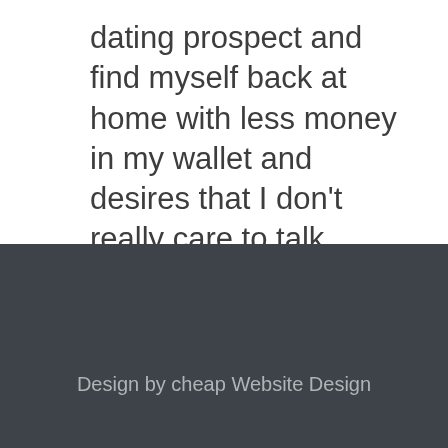dating prospect and find myself back at home with less money in my wallet and desires that I don't really care to talk about, then yes… phone sex is what I use…
Design by cheap Website Design